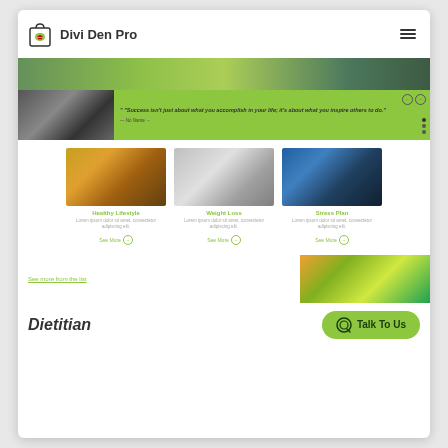[Figure (screenshot): Divi Den Pro website screenshot showing header with logo, hero section with food image and green quote box, three service cards (Healthy Lifestyle, Weight Loss, Stress Plan), a bottom section with fruits image, and a Dietitian label with Talk To Us CTA button]
Divi Den Pro
"Success isn't just about what you accomplish in your life; it's about what you inspire others to do."
Healthy Lifestyle
Lorem ipsum dolor sit amet, consectetur adipiscing elit.
Weight Loss
Lorem ipsum dolor sit amet, consectetur adipiscing elit.
Stress Plan
Lorem ipsum dolor sit amet, consectetur adipiscing elit.
Dietitian
Talk To Us